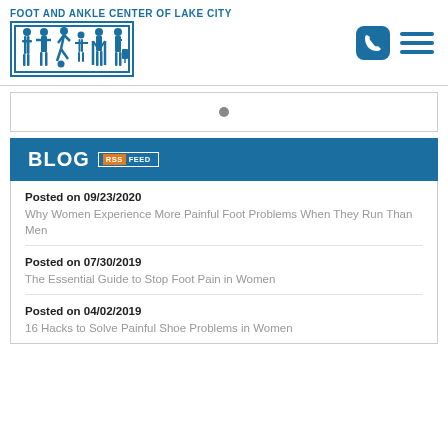Foot and Ankle Center of Lake City
[Figure (logo): Foot and Ankle Center of Lake City logo with silhouettes of people walking, running, and using crutches in blue]
BLOG RSS FEED
Posted on 09/23/2020 — Why Women Experience More Painful Foot Problems When They Run Than Men
Posted on 07/30/2019 — The Essential Guide to Stop Foot Pain in Women
Posted on 04/02/2019 — 16 Hacks to Solve Painful Shoe Problems in Women